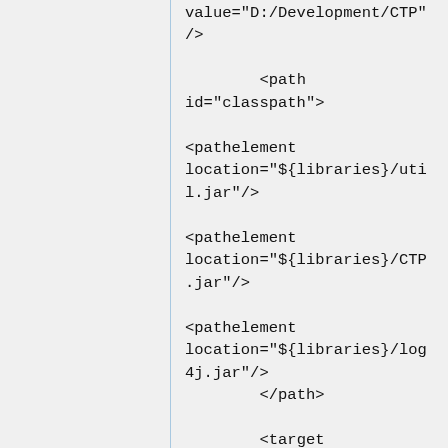value="D:/Development/CTP"
/>

        <path
id="classpath">

<pathelement
location="${libraries}/util.jar"/>

<pathelement
location="${libraries}/CTP.jar"/>

<pathelement
location="${libraries}/log4j.jar"/>
        </path>

        <target
name="clean">
                <delete
dir="${build}"
failonerror="false"/>
        </target>